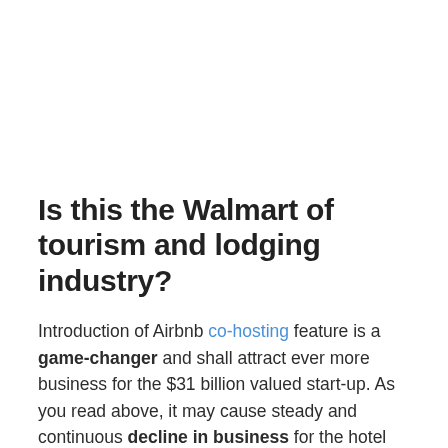Is this the Walmart of tourism and lodging industry?
Introduction of Airbnb co-hosting feature is a game-changer and shall attract ever more business for the $31 billion valued start-up. As you read above, it may cause steady and continuous decline in business for the hotel industry. Due to this, hotels